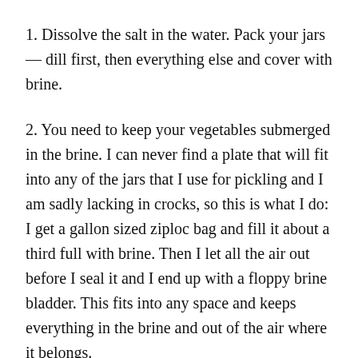1. Dissolve the salt in the water. Pack your jars — dill first, then everything else and cover with brine.
2. You need to keep your vegetables submerged in the brine. I can never find a plate that will fit into any of the jars that I use for pickling and I am sadly lacking in crocks, so this is what I do: I get a gallon sized ziploc bag and fill it about a third full with brine. Then I let all the air out before I seal it and I end up with a floppy brine bladder. This fits into any space and keeps everything in the brine and out of the air where it belongs.
3. You will most likely encounter scum while your